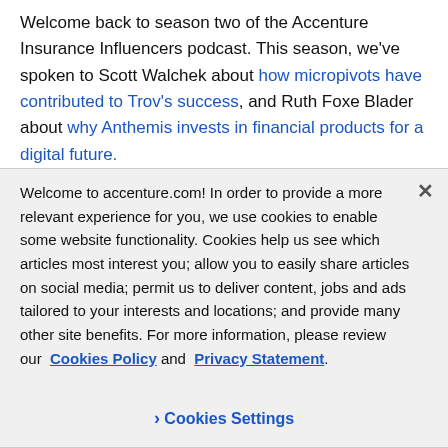Welcome back to season two of the Accenture Insurance Influencers podcast. This season, we've spoken to Scott Walchek about how micropivots have contributed to Trov's success, and Ruth Foxe Blader about why Anthemis invests in financial products for a digital future.
Welcome to accenture.com! In order to provide a more relevant experience for you, we use cookies to enable some website functionality. Cookies help us see which articles most interest you; allow you to easily share articles on social media; permit us to deliver content, jobs and ads tailored to your interests and locations; and provide many other site benefits. For more information, please review our Cookies Policy and Privacy Statement.
Cookies Settings